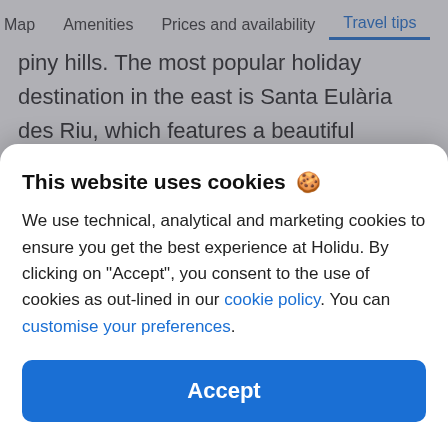Map   Amenities   Prices and availability   Travel tips
piny hills. The most popular holiday destination in the east is Santa Eulària des Riu, which features a beautiful promenade, turquoise water and vast offers to experience – a perfect destination for families and those after pure relaxation. In the
This website uses cookies 🍪
We use technical, analytical and marketing cookies to ensure you get the best experience at Holidu. By clicking on "Accept", you consent to the use of cookies as out-lined in our cookie policy. You can customise your preferences.
Accept